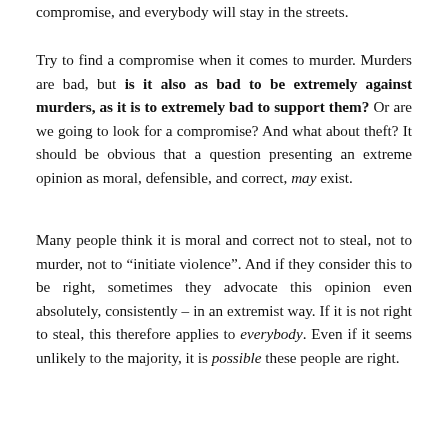compromise, and everybody will stay in the streets.
Try to find a compromise when it comes to murder. Murders are bad, but is it also as bad to be extremely against murders, as it is to extremely bad to support them? Or are we going to look for a compromise? And what about theft? It should be obvious that a question presenting an extreme opinion as moral, defensible, and correct, may exist.
Many people think it is moral and correct not to steal, not to murder, not to “initiate violence”. And if they consider this to be right, sometimes they advocate this opinion even absolutely, consistently – in an extremist way. If it is not right to steal, this therefore applies to everybody. Even if it seems unlikely to the majority, it is possible these people are right.